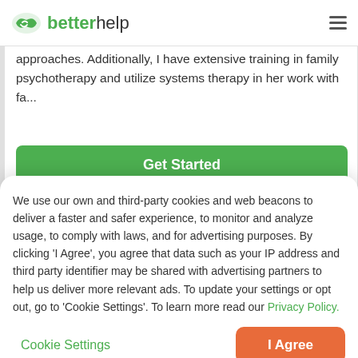betterhelp
approaches. Additionally, I have extensive training in family psychotherapy and utilize systems therapy in her work with fa...
Get Started
We use our own and third-party cookies and web beacons to deliver a faster and safer experience, to monitor and analyze usage, to comply with laws, and for advertising purposes. By clicking 'I Agree', you agree that data such as your IP address and third party identifier may be shared with advertising partners to help us deliver more relevant ads. To update your settings or opt out, go to 'Cookie Settings'. To learn more read our Privacy Policy.
Cookie Settings
I Agree